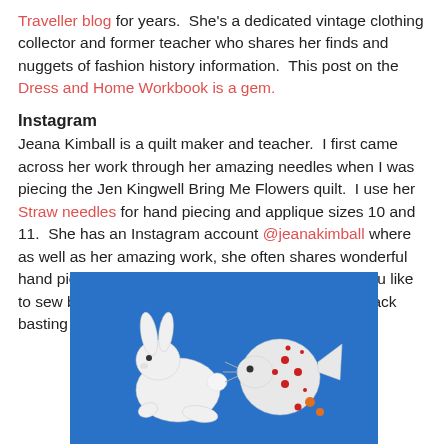Traveller blog for years.  She's a dedicated vintage clothing collector and former teacher who shares her finds and nuggets of fashion history information.  This post on the Dress and Home Workbook is a gem.
Instagram
Jeana Kimball is a quilt maker and teacher.  I first came across her work through her amazing needles when I was piecing the Jen Kingwell Bring Me Flowers quilt.  I use her Straw needles for hand piecing and applique sizes 10 and 11.  She has an Instagram account @jeanakimball where as well as her amazing work, she often shares wonderful hand piecing tips, well worth a follow, especially if you like to sew by hand.  I'm enjoying her current posts on back basting applique.
[Figure (photo): Photo of white fabric applique rabbits/animals on a bright blue background, showing hand applique work]